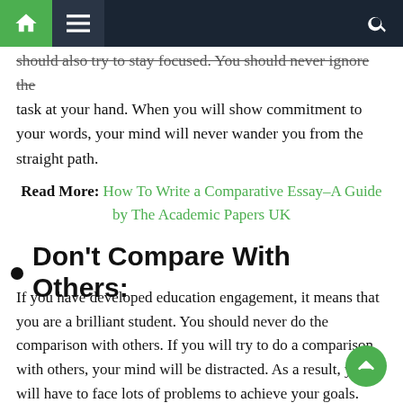[Navigation bar with home, menu, and search icons]
should also try to stay focused. You should never ignore the task at your hand. When you will show commitment to your words, your mind will never wander you from the straight path.
Read More: How To Write a Comparative Essay–A Guide by The Academic Papers UK
Don't Compare With Others:
If you have developed education engagement, it means that you are a brilliant student. You should never do the comparison with others. If you will try to do a comparison with others, your mind will be distracted. As a result, you will have to face lots of problems to achieve your goals. You should try to create your plan based on your abilities. After creating this plan, you should allow the students to follow